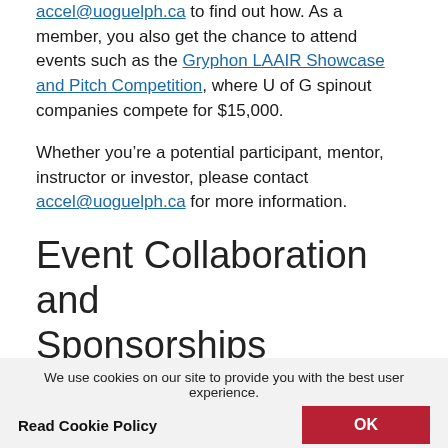accel@uoguelph.ca to find out how. As a member, you also get the chance to attend events such as the Gryphon LAAIR Showcase and Pitch Competition, where U of G spinout companies compete for $15,000.
Whether you're a potential participant, mentor, instructor or investor, please contact accel@uoguelph.ca for more information.
Event Collaboration and Sponsorships
The New Venture Creation team is always looking for new ways to share information with our entrepreneurs. Private companies and non-profit organizations find working with us extremely valuable both in terms of their exposure to innovation and...
We use cookies on our site to provide you with the best user experience. Read Cookie Policy  OK